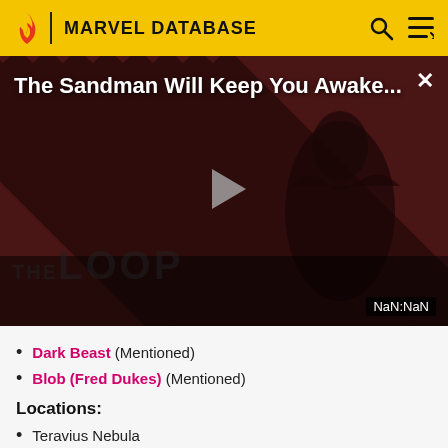MARVEL DATABASE
[Figure (screenshot): Video thumbnail showing 'The Sandman Will Keep You Awake...' with a dark figure, diagonal stripe background, THE LOOP logo, play button, close button, and NaN:NaN time badge]
Dark Beast (Mentioned)
Blob (Fred Dukes) (Mentioned)
Locations:
Teravius Nebula